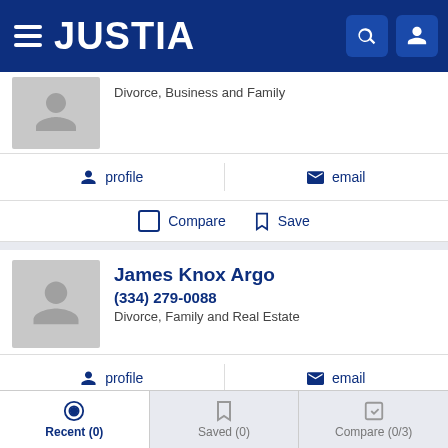JUSTIA
Divorce, Business and Family
profile   email
Compare   Save
James Knox Argo
(334) 279-0088
Divorce, Family and Real Estate
profile   email
Compare   Save
Jeffery Clyde Duffey
Recent (0)   Saved (0)   Compare (0/3)